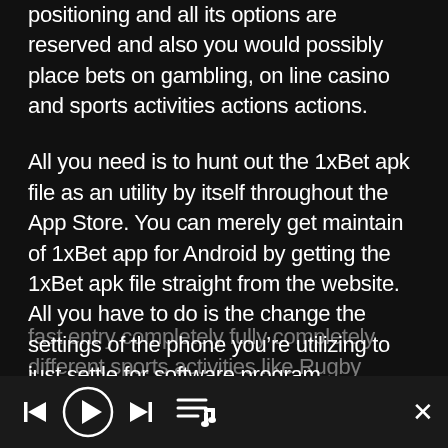positioning and all its options are reserved and also you would possibly place bets on gambling, on line casino and sports activities actions actions.
All you need is to hunt out the 1xBet apk file as an utility by itself throughout the App Store. You can merely get maintain of 1xBet app for Android by getting the 1xBet apk file straight from the website. All you have to do is the change the settings of the phone you’re utilizing to just settle for software program downloads from unknown sources. Once that’s achieved, you’ll be able to go on to click on the android button which is found on the web website and save the 1xBet app obtain. When utilizing 1XWin app, avid avid
fast entry completely fully completely different sports activities like Rugby
[Figure (other): Media player bottom bar with previous, play, next controls and queue icon, plus close (X) button]